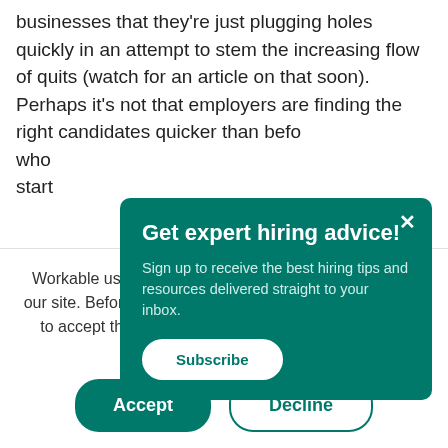businesses that they're just plugging holes quickly in an attempt to stem the increasing flow of quits (watch for an article on that soon). Perhaps it's not that employers are finding the right candidates quicker than befo who start
We a moa
Get expert hiring advice!
Sign up to receive the best hiring tips and resources delivered straight to your inbox.
Subscribe
Workable uses cookies to improve your experience on our site. Before you continue, let us know if you're happy to accept the use of cookies, in accordance with our Privacy Policy.
Accept
Decline